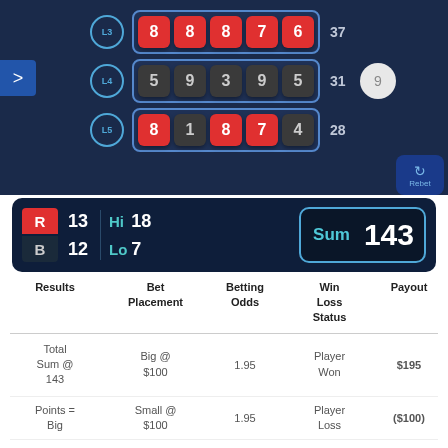[Figure (screenshot): Game panel showing dice/number grid with rows L3, L4, L5. L3 row: 8,8,8,7,6 (sum 37). L4 row: 5,9,3,9,5 (sum 31). L5 row: 8,1,8,7,4 (sum 28). Navigation arrow on left, Rebet button on right.]
[Figure (infographic): Stats bar showing R=13, B=12, Hi=18, Lo=7, Sum=143]
| Results | Bet Placement | Betting Odds | Win Loss Status | Payout |
| --- | --- | --- | --- | --- |
| Total Sum @ 143 Points = Big | Big @ $100 | 1.95 | Player Won | $195 |
| Total Sum @ 143 Points = Big | Small @ $100 | 1.95 | Player Loss | ($100) |
| Total Sum @ 143 | Odd @ $100 | 1.95< | Player Won | $195 |